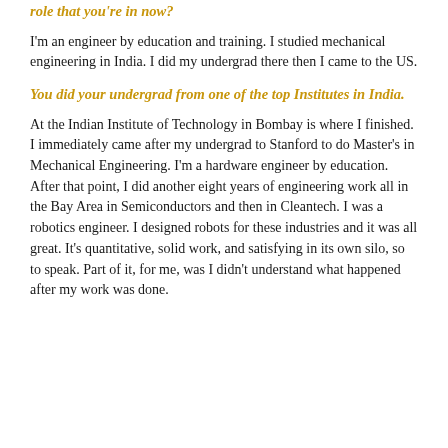role that you're in now?
I'm an engineer by education and training. I studied mechanical engineering in India. I did my undergrad there then I came to the US.
You did your undergrad from one of the top Institutes in India.
At the Indian Institute of Technology in Bombay is where I finished. I immediately came after my undergrad to Stanford to do Master's in Mechanical Engineering. I'm a hardware engineer by education. After that point, I did another eight years of engineering work all in the Bay Area in Semiconductors and then in Cleantech. I was a robotics engineer. I designed robots for these industries and it was all great. It's quantitative, solid work, and satisfying in its own silo, so to speak. Part of it, for me, was I didn't understand what happened after my work was done.